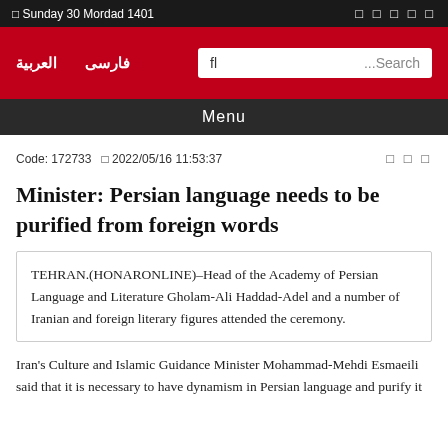□ Sunday 30 Mordad 1401   □ □ □ □ □
العربية   فارسی   Search...
Menu
Code: 172733  □ 2022/05/16 11:53:37   □ □ □
Minister: Persian language needs to be purified from foreign words
TEHRAN.(HONARONLINE)–Head of the Academy of Persian Language and Literature Gholam-Ali Haddad-Adel and a number of Iranian and foreign literary figures attended the ceremony.
Iran's Culture and Islamic Guidance Minister Mohammad-Mehdi Esmaeili said that it is necessary to have dynamism in Persian language and purify it